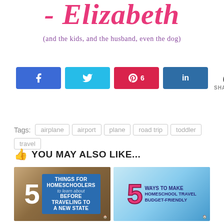- Elizabeth
(and the kids, and the husband, even the dog)
[Figure (infographic): Social share buttons: Facebook, Twitter, Pinterest (6 pins), LinkedIn, and share count showing 6 SHARES]
Tags: airplane  airport  plane  road trip  toddler  travel
YOU MAY ALSO LIKE...
[Figure (photo): Two thumbnail images side by side. Left: '5 Things for Homeschoolers to Learn About Before Traveling to a New State' with map background and blue banner. Right: '5 Ways to Make Homeschool Travel Budget-Friendly' with sky background and pink/navy text.]